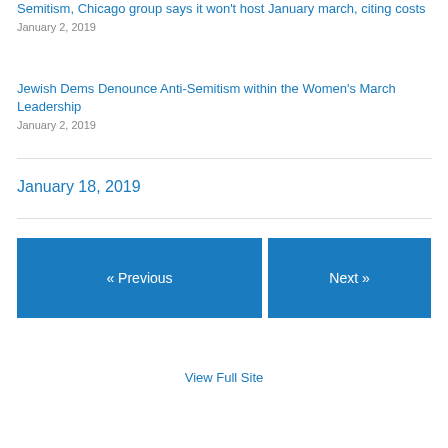Semitism, Chicago group says it won't host January march, citing costs
January 2, 2019
Jewish Dems Denounce Anti-Semitism within the Women's March Leadership
January 2, 2019
January 18, 2019
« Previous
Next »
View Full Site